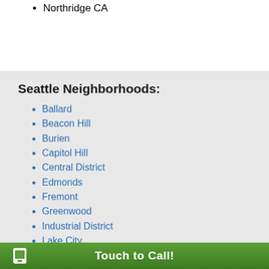Northridge CA
Seattle Neighborhoods:
Ballard
Beacon Hill
Burien
Capitol Hill
Central District
Edmonds
Fremont
Greenwood
Industrial District
Lake City
Touch to Call!